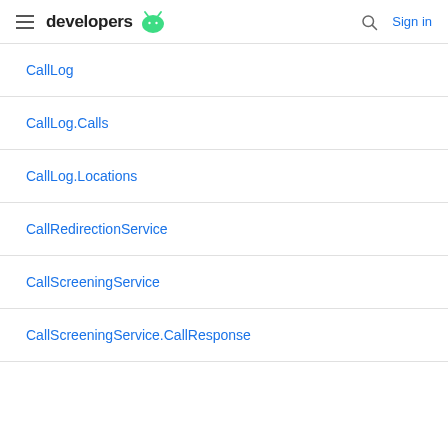developers | Sign in
CallLog
CallLog.Calls
CallLog.Locations
CallRedirectionService
CallScreeningService
CallScreeningService.CallResponse